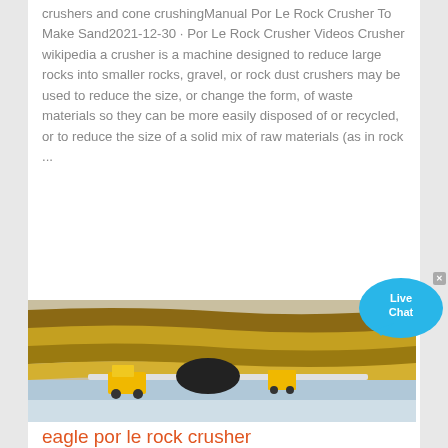crushers and cone crushingManual Por Le Rock Crusher To Make Sand2021-12-30 · Por Le Rock Crusher Videos Crusher wikipedia a crusher is a machine designed to reduce large rocks into smaller rocks, gravel, or rock dust crushers may be used to reduce the size, or change the form, of waste materials so they can be more easily disposed of or recycled, or to reduce the size of a solid mix of raw materials (as in rock ...
[Figure (photo): Aerial view of an open-pit mine or quarry showing heavy machinery including a yellow dump truck, conveyor belts, and terraced earthen walls with yellow/brown stripes]
eagle por le rock crusher